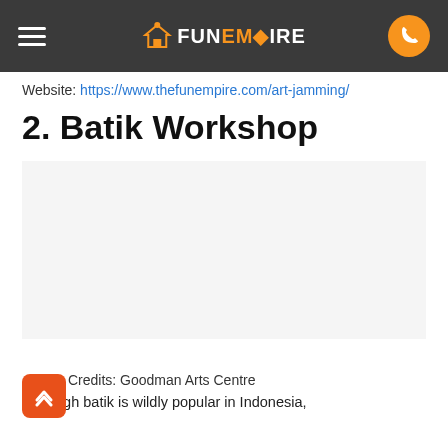FunEmpire navigation bar with hamburger menu and phone button
Website: https://www.thefunempire.com/art-jamming/
2. Batik Workshop
Credits: Goodman Arts Centre
Although batik is wildly popular in Indonesia,